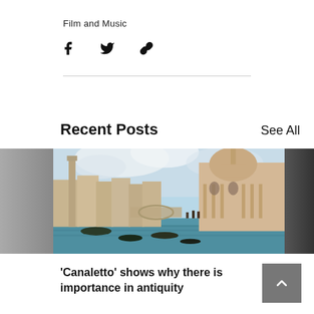Film and Music
[Figure (illustration): Social media share icons: Facebook (f), Twitter (bird), and link/chain icon]
[Figure (photo): Painting of Venice (Grand Canal with Santa Maria della Salute), flanked by a grey partial image on left and dark partial image on right]
'Canaletto' shows why there is importance in antiquity